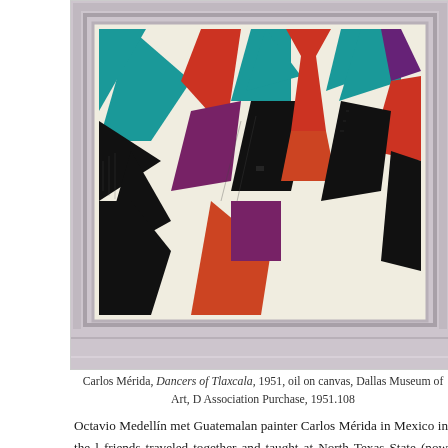[Figure (photo): Framed painting by Carlos Mérida titled 'Dancers of Tlaxcala', 1951, abstract geometric shapes in teal, red, black, purple on cream background, in a gray/lavender frame. Only upper portion visible.]
Carlos Mérida, Dancers of Tlaxcala, 1951, oil on canvas, Dallas Museum of Art, D Association Purchase, 1951.108
Octavio Medellín met Guatemalan painter Carlos Mérida in Mexico in the l friends traveled together and taught at North Texas State (now University of No 1941 to 1942. Though Mérida eventually returned to Mexico, the two remaine and influenced each other's work until Mérida died in 1985.
[Figure (photo): Framed painting showing figures in an interior scene with green background, dark figures examining artwork on walls, painted in an expressionist style.]